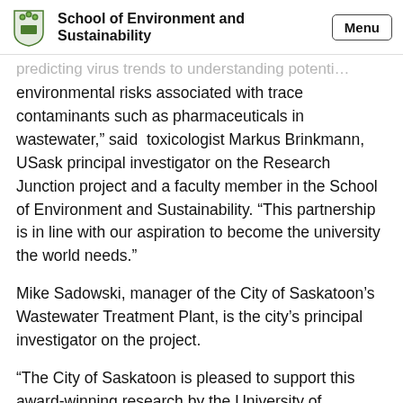School of Environment and Sustainability
predicting virus trends to understanding potential environmental risks associated with trace contaminants such as pharmaceuticals in wastewater,” said toxicologist Markus Brinkmann, USask principal investigator on the Research Junction project and a faculty member in the School of Environment and Sustainability. “This partnership is in line with our aspiration to become the university the world needs.”
Mike Sadowski, manager of the City of Saskatoon’s Wastewater Treatment Plant, is the city’s principal investigator on the project.
“The City of Saskatoon is pleased to support this award-winning research by the University of Saskatchewan, which is making use of wastewater-based epidemiology to provide valuable information to